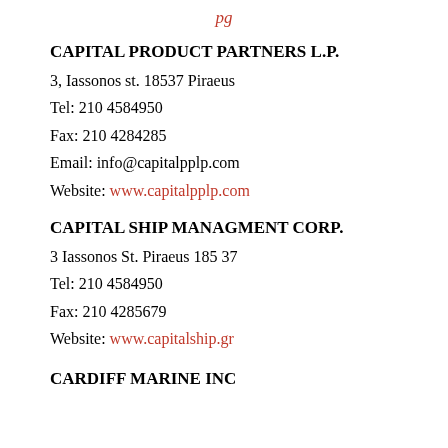pg
CAPITAL PRODUCT PARTNERS L.P.
3, Iassonos st. 18537 Piraeus
Tel: 210 4584950
Fax: 210 4284285
Email: info@capitalpplp.com
Website: www.capitalpplp.com
CAPITAL SHIP MANAGMENT CORP.
3 Iassonos St. Piraeus 185 37
Tel: 210 4584950
Fax: 210 4285679
Website: www.capitalship.gr
CARDIFF MARINE INC